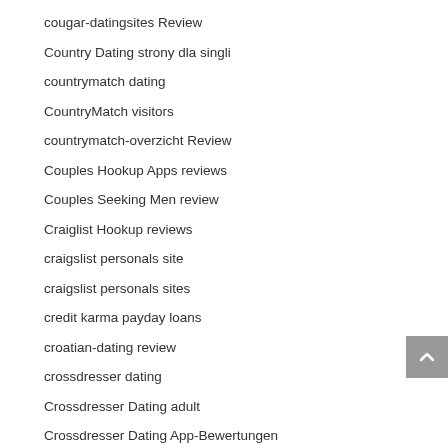cougar-datingsites Review
Country Dating strony dla singli
countrymatch dating
CountryMatch visitors
countrymatch-overzicht Review
Couples Hookup Apps reviews
Couples Seeking Men review
Craiglist Hookup reviews
craigslist personals site
craigslist personals sites
credit karma payday loans
croatian-dating review
crossdresser dating
Crossdresser Dating adult
Crossdresser Dating App-Bewertungen